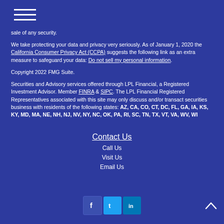[Figure (other): Hamburger menu icon with three horizontal white lines]
sale of any security.
We take protecting your data and privacy very seriously. As of January 1, 2020 the California Consumer Privacy Act (CCPA) suggests the following link as an extra measure to safeguard your data: Do not sell my personal information.
Copyright 2022 FMG Suite.
Securities and Advisory services offered through LPL Financial, a Registered Investment Advisor. Member FINRA & SIPC. The LPL Financial Registered Representatives associated with this site may only discuss and/or transact securities business with residents of the following states: AZ, CA, CO, CT, DC, FL, GA, IA, KS, KY, MD, MA, NE, NH, NJ, NV, NY, NC, OK, PA, RI, SC, TN, TX, VT, VA, WV, WI
Contact Us
Call Us
Visit Us
Email Us
[Figure (other): Social media icons: Facebook (dark blue), Twitter (cyan blue), LinkedIn (blue)]